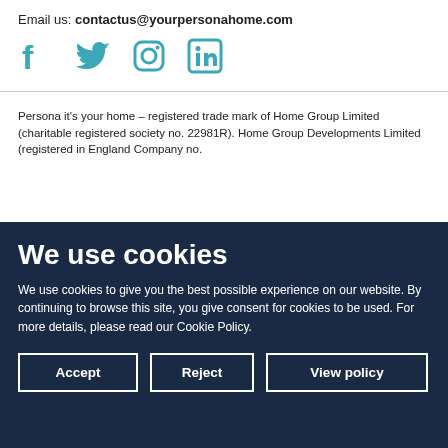Email us: contactus@yourpersonahome.com
[Figure (illustration): Social media icons: Facebook, Twitter, Instagram, LinkedIn in teal/blue color]
Persona it's your home – registered trade mark of Home Group Limited (charitable registered society no. 22981R). Home Group Developments Limited (registered in England Company no.
We use cookies
We use cookies to give you the best possible experience on our website. By continuing to browse this site, you give consent for cookies to be used. For more details, please read our Cookie Policy.
Accept | Reject | View policy